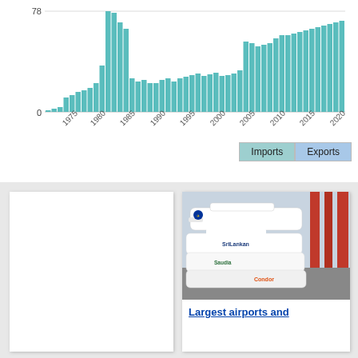[Figure (bar-chart): Imports and Exports over time]
[Figure (photo): Aerial photo of multiple airplanes at airport gates, including Lufthansa, SriLankan, Saudia, and Condor aircraft parked at terminal with jetbridges.]
Largest airports and